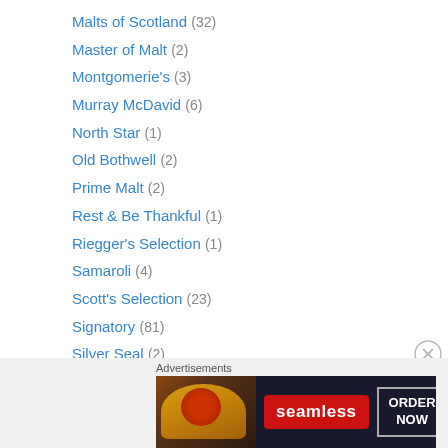Malts of Scotland (32)
Master of Malt (2)
Montgomerie's (3)
Murray McDavid (6)
North Star (1)
Old Bothwell (2)
Prime Malt (2)
Rest & Be Thankful (1)
Riegger's Selection (1)
Samaroli (4)
Scott's Selection (23)
Signatory (81)
Silver Seal (2)
Single Cask Nation (2)
SMWS (66)
Svenska Eldvatten (2)
Advertisements
[Figure (photo): Seamless food delivery advertisement banner with pizza image, Seamless logo, and ORDER NOW button]